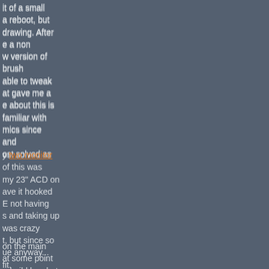it of a small a reboot, but drawing. After e a non w version of brush able to tweak at gave me a e about this is familiar with mics since and ost solved as
y two monitor of this was my 23" ACD on ave it hooked E not having s and taking up was crazy t, but since so ue anyway... fit.
on the main at some point rebuild her, but